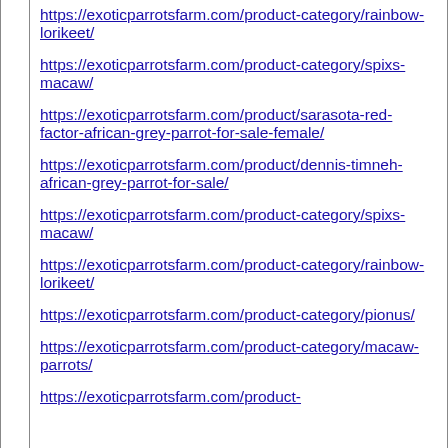https://exoticparrotsfarm.com/product-category/rainbow-lorikeet/
https://exoticparrotsfarm.com/product-category/spixs-macaw/
https://exoticparrotsfarm.com/product/sarasota-red-factor-african-grey-parrot-for-sale-female/
https://exoticparrotsfarm.com/product/dennis-timneh-african-grey-parrot-for-sale/
https://exoticparrotsfarm.com/product-category/spixs-macaw/
https://exoticparrotsfarm.com/product-category/rainbow-lorikeet/
https://exoticparrotsfarm.com/product-category/pionus/
https://exoticparrotsfarm.com/product-category/macaw-parrots/
https://exoticparrotsfarm.com/product-